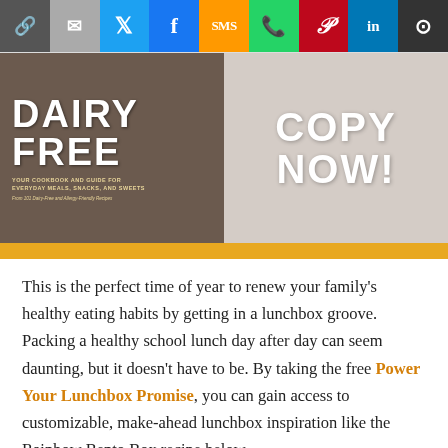[Figure (screenshot): Social sharing toolbar with icons: link, email, Twitter, Facebook, SMS, WhatsApp, Pinterest, LinkedIn, More]
[Figure (illustration): Promotional banner for a Dairy Free cookbook. Left half shows dark brown background with large white text 'DAIRY FREE' and subtitle 'Your Cookbook and Guide for Everyday Meals, Snacks, and Sweets'. Right half shows marble texture with large white text 'COPY NOW!'. Below the banner is a gold/yellow horizontal bar.]
This is the perfect time of year to renew your family's healthy eating habits by getting in a lunchbox groove. Packing a healthy school lunch day after day can seem daunting, but it doesn't have to be. By taking the free Power Your Lunchbox Promise, you can gain access to customizable, make-ahead lunchbox inspiration like the Rainbow Bento Box recipe below.
It creatively uses six colors of fruits and veggies, plus protein-packed deli spirals, to keep kids' brains charged, all day